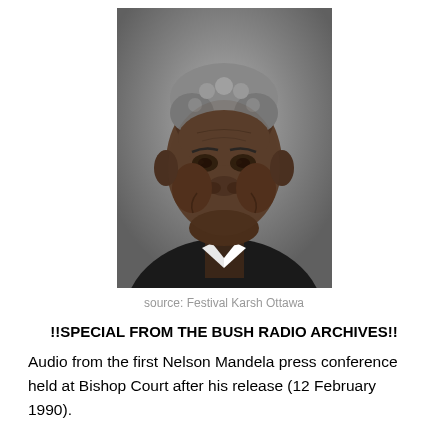[Figure (photo): Black and white portrait photograph of Nelson Mandela, smiling, wearing a dark suit and white shirt, photographed from the shoulders up against a gray gradient background.]
source: Festival Karsh Ottawa
!!SPECIAL FROM THE BUSH RADIO ARCHIVES!!
Audio from the first Nelson Mandela press conference held at Bishop Court after his release (12 February 1990).